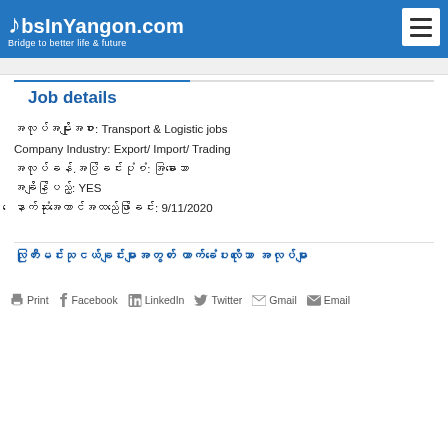JobsInYangon.com — Bridge to better life & future
Job details
အလုပ်အမျိုးအစား: Transport & Logistic jobs
Company Industry: Export/ Import/ Trading
အလုပ်ခန်.အပ်ခြင်းပုံစံ: အခြားသော
အချိန်ပြည့်: YES
နောက်ဆုံးအကောင်အထည်ဖော်ခြင်း: 9/11/2020
လုကြီးမင်းသုငယ်ချင်းများအတွက် ထောက်ခံပေးလိုသော အလုပ်များ
Print  Facebook  LinkedIn  Twitter  Gmail  Email